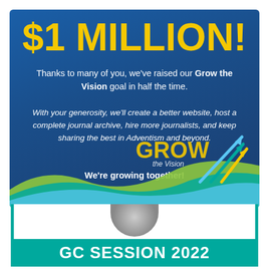[Figure (infographic): Blue gradient banner with '$1 MILLION!' in yellow bold text, body text about Grow the Vision campaign, italic description text, wave decorations at bottom, GROW the Vision logo, and upward arrows]
$1 MILLION!
Thanks to many of you, we've raised our Grow the Vision goal in half the time.
With your generosity, we'll create a better website, host a complete journal archive, hire more journalists, and keep sharing the best in Adventism and beyond.
We're growing together!
[Figure (infographic): GC SESSION 2022 banner with teal borders and globe image at top, teal title bar at bottom]